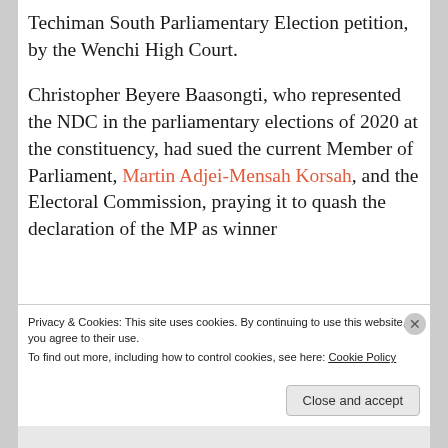Techiman South Parliamentary Election petition, by the Wenchi High Court.
Christopher Beyere Baasongti, who represented the NDC in the parliamentary elections of 2020 at the constituency, had sued the current Member of Parliament, Martin Adjei-Mensah Korsah, and the Electoral Commission, praying it to quash the declaration of the MP as winner
Privacy & Cookies: This site uses cookies. By continuing to use this website, you agree to their use.
To find out more, including how to control cookies, see here: Cookie Policy